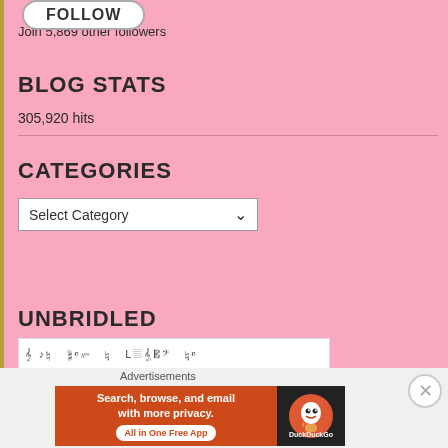[Figure (screenshot): Follow button (pill-shaped white button with bold text)]
Join 5,869 other followers
BLOG STATS
305,920 hits
CATEGORIES
[Figure (screenshot): Select Category dropdown widget]
UNBRIDLED
[Figure (screenshot): Book cover strip image with small text/icons]
Advertisements
[Figure (screenshot): DuckDuckGo advertisement banner: Search, browse, and email with more privacy. All in One Free App]